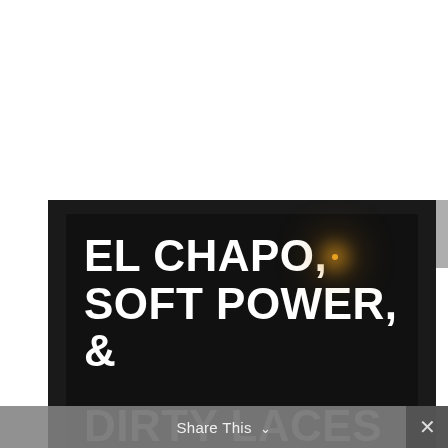[Figure (photo): Dark promotional image with bold white text reading 'EL CHAPO, SOFT POWER, &' and partially visible text 'DIRTY LACES' at the bottom, set against a near-black background with a faint street light glow visible in the upper right portion of the inner frame.]
Share This ∨